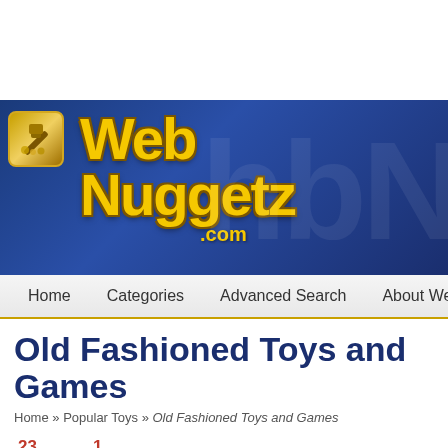[Figure (logo): WebNuggetz.com website logo — gold stylized text 'Web Nuggetz' on dark blue banner background with hammer icon]
Home   Categories   Advanced Search   About WebNugg...
Old Fashioned Toys and Games
Home » Popular Toys » Old Fashioned Toys and Games
[Figure (other): Social sharing buttons row: Facebook (23 shares), Twitter, Pinterest (1 share), Flipboard, LinkedIn, Share — total 24 Shares. Sucuri security badge overlay.]